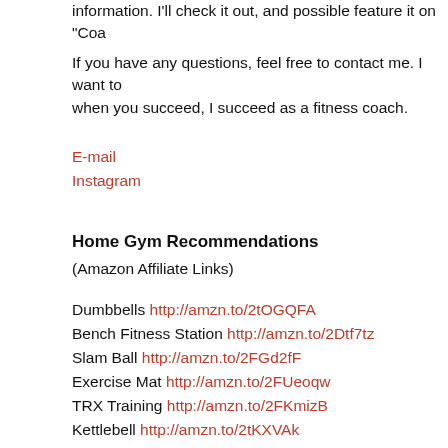information.  I'll check it out, and possible feature it on "Coa
If you have any questions, feel free to contact me.  I want to when you succeed, I succeed as a fitness coach.
E-mail
Instagram
Home Gym Recommendations
(Amazon Affiliate Links)
Dumbbells http://amzn.to/2tOGQFA
Bench Fitness Station http://amzn.to/2Dtf7tz
Slam Ball http://amzn.to/2FGd2fF
Exercise Mat http://amzn.to/2FUeoqw
TRX Training http://amzn.to/2FKmizB
Kettlebell  http://amzn.to/2tKXVAk
**My Not Necessary But Very Cool Gorilla Kettlebell http://a
Intermediate to Advanced Level Gym
Power Cage http://amzn.to/2tOsTgE